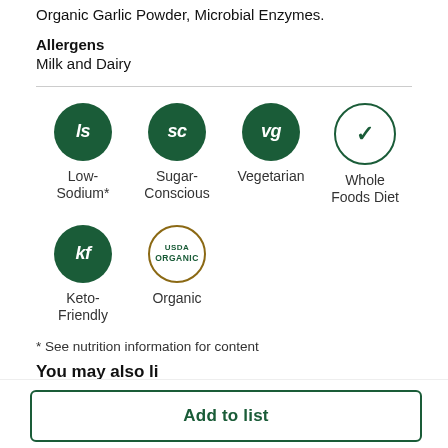Milk, Salt, Organic Marjoram, Organic Oregano, Organic Garlic Powder, Microbial Enzymes.
Allergens
Milk and Dairy
[Figure (infographic): Six diet/lifestyle badges: Low-Sodium* (ls, dark green circle), Sugar-Conscious (sc, dark green circle), Vegetarian (vg, dark green circle), Whole Foods Diet (checkmark, outline circle), Keto-Friendly (kf, dark green circle), Organic (USDA Organic logo circle)]
* See nutrition information for content
You may also like